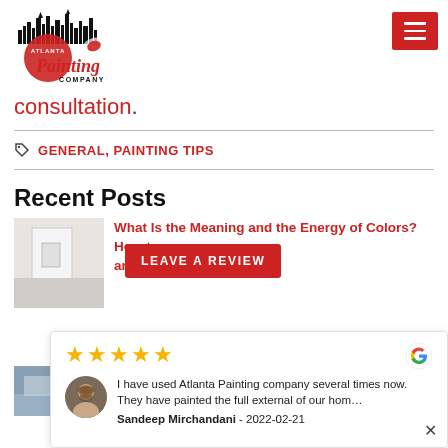[Figure (logo): Atlanta Painting Company logo with city skyline and red script text]
[Figure (other): Red hamburger menu button with three white horizontal lines]
consultation.
GENERAL, PAINTING TIPS
Recent Posts
[Figure (photo): Interior room photo showing white walls and doorway]
What Is the Meaning and the Energy of Colors? How t... s and Choose a...
[Figure (other): LEAVE A REVIEW red button overlay]
[Figure (photo): Second post thumbnail showing outdoor/architectural image]
[Figure (other): Google review card with 5 stars, reviewer photo, review text by Sandeep Mirchandani dated 2022-02-21]